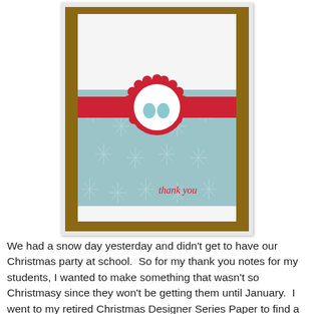[Figure (photo): A handmade thank you card photographed on a wooden table. The card features a light blue snowflake-patterned paper background, a red horizontal ribbon/band across the middle, and a red scalloped circle medallion in the center with a white circle containing light blue mittens stamp image. The text 'thank you' appears in red italic font in the lower right of the blue patterned area.]
We had a snow day yesterday and didn't get to have our Christmas party at school.  So for my thank you notes for my students, I wanted to make something that wasn't so Christmasy since they won't be getting them until January.  I went to my retired Christmas Designer Series Paper to find a pattern I had enough of that would allow for several 3 x 4 pieces of the same thing.  I need to make several and want something I can put together pretty quickly.   This Real Red and Baja Breeze combination feels wintery and thanks to